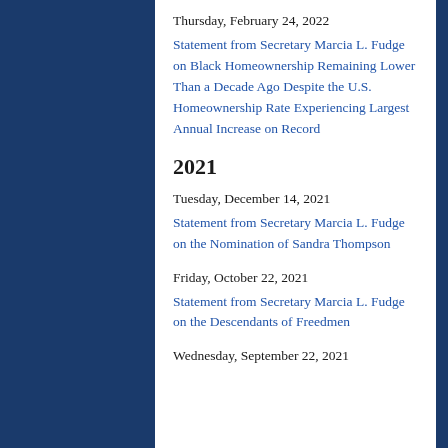Thursday, February 24, 2022
Statement from Secretary Marcia L. Fudge on Black Homeownership Remaining Lower Than a Decade Ago Despite the U.S. Homeownership Rate Experiencing Largest Annual Increase on Record
2021
Tuesday, December 14, 2021
Statement from Secretary Marcia L. Fudge on the Nomination of Sandra Thompson
Friday, October 22, 2021
Statement from Secretary Marcia L. Fudge on the Descendants of Freedmen
Wednesday, September 22, 2021